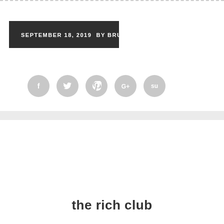SEPTEMBER 18, 2019  BY BRUCE
[Figure (other): Row of five social media share icons (Facebook, Twitter, Pinterest, Google+, StumbleUpon) as grey circles with white logos]
BIGGER ISSUES FACING US, FAVORITE QUOTES, LIFE THOUGHTS, PERSONAL & NONSENSICAL, RANTS AND OBSERVATIONS
the rich club